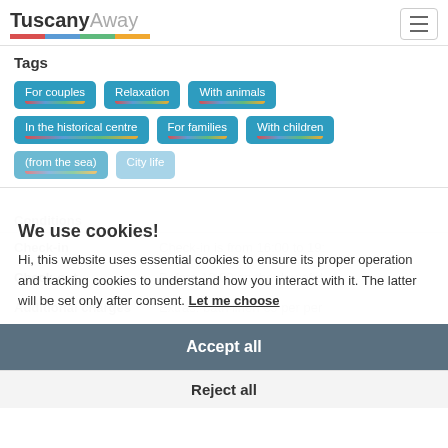TuscanyAway
Tags
For couples
Relaxation
With animals
In the historical centre
For families
With children
(from the sea)
City life
We use cookies!
Hi, this website uses essential cookies to ensure its proper operation and tracking cookies to understand how you interact with it. The latter will be set only after consent. Let me choose
Accept all
Reject all
Conditions
| Check-in | Check-in is from 16:00 to 19: |
| --- | --- |
| Check-out | Before 10:00 on the day of d |
| --- | --- |
| Additional charges | Extras: bath linen €5 per per |
| --- | --- |
| Children and additional beds | Cot or extra bed at €20 per |
| --- | --- |
| Pets | Small/medium-sized and we |
| --- | --- |